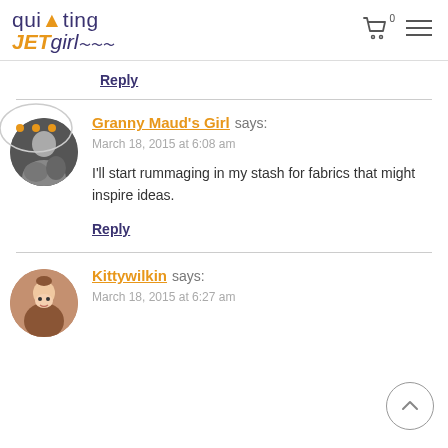quilting JET girl
Reply
[Figure (photo): Black and white circular avatar photo of a person]
Granny Maud's Girl says:
March 18, 2015 at 6:08 am
I'll start rummaging in my stash for fabrics that might inspire ideas.
Reply
[Figure (photo): Color circular avatar photo of a smiling woman]
Kittywilkin says:
March 18, 2015 at 6:27 am